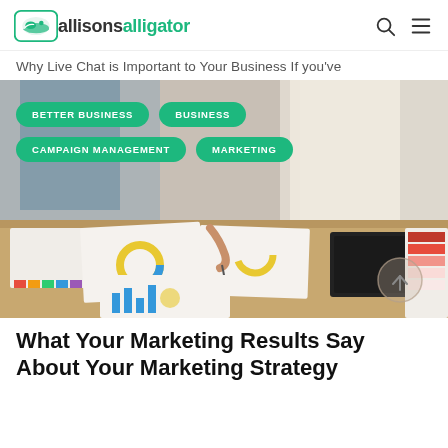allisonsalligator
Why Live Chat is Important to Your Business If you've
[Figure (photo): Two people standing over a wooden desk covered with marketing charts, color swatches, and printed reports. Four green pill-shaped category badges are overlaid: BETTER BUSINESS, BUSINESS, CAMPAIGN MANAGEMENT, MARKETING. A circular scroll-up button is visible in the bottom right corner.]
What Your Marketing Results Say About Your Marketing Strategy